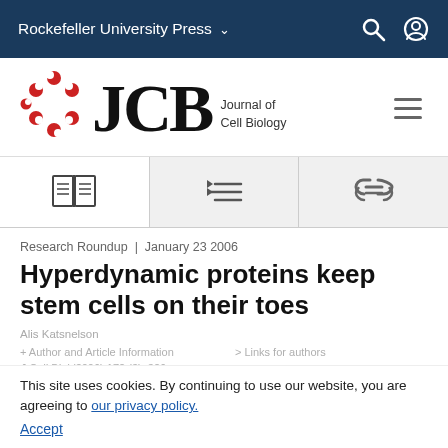Rockefeller University Press
[Figure (logo): JCB Journal of Cell Biology logo with red molecule icon and hamburger menu]
[Figure (infographic): Tab bar with book icon, list/citations icon, and link icon]
Research Roundup | January 23 2006
Hyperdynamic proteins keep stem cells on their toes
Alis Katsnelson
+ Author and Article Information
J Cell Biol (2006) 172 (3): 326
https://doi.org/10.1083/jcb1723n4
This site uses cookies. By continuing to use our website, you are agreeing to our privacy policy. Accept